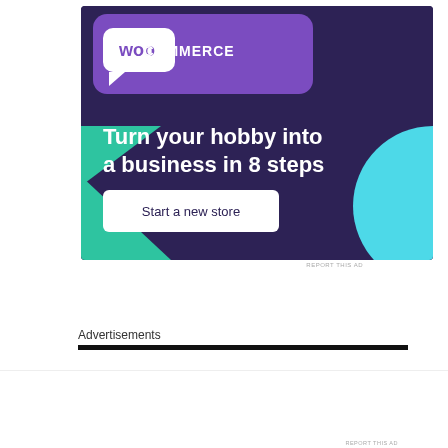[Figure (illustration): WooCommerce advertisement banner with dark purple background, green triangle shape, teal circle shape, WooCommerce logo at top, headline 'Turn your hobby into a business in 8 steps', and a 'Start a new store' button.]
REPORT THIS AD
Advertisements
[Figure (illustration): Pocket Casts advertisement: 'The go-to app for podcast lovers.' with Pocket Casts logo and colorful app icon tiles on the left.]
REPORT THIS AD